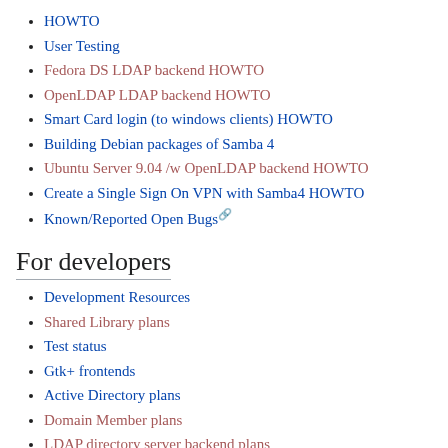HOWTO
User Testing
Fedora DS LDAP backend HOWTO
OpenLDAP LDAP backend HOWTO
Smart Card login (to windows clients) HOWTO
Building Debian packages of Samba 4
Ubuntu Server 9.04 /w OpenLDAP backend HOWTO
Create a Single Sign On VPN with Samba4 HOWTO
Known/Reported Open Bugs
For developers
Development Resources
Shared Library plans
Test status
Gtk+ frontends
Active Directory plans
Domain Member plans
LDAP directory server backend plans